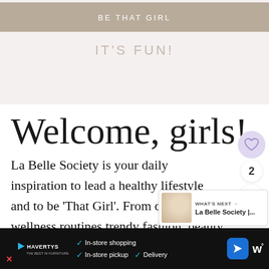BE THAT GIRL
IT'S FUN!
Welcome, girls!
La Belle Society is your daily inspiration to lead a healthy lifestyle and to be 'That Girl'. From daily wellness routines trendy fashion, beauty tips, healthy
[Figure (screenshot): Advertisement bar at bottom: Havertys logo with In-store shopping, In-store pickup, Delivery checkmarks and a navigation arrow icon. Close X button visible. Right side shows partial logo with degree symbol.]
[Figure (screenshot): UI overlay with heart/like button (purple circle), number 2 badge, share button, and WHAT'S NEXT card showing La Belle Society thumbnail.]